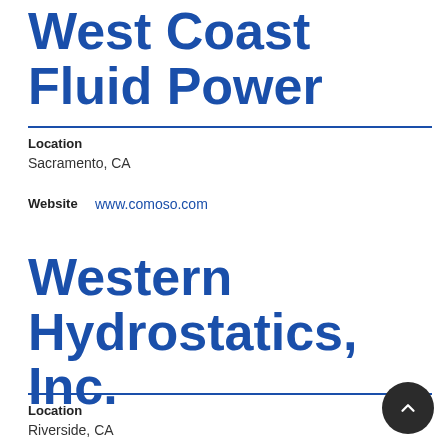West Coast Fluid Power
Location
Sacramento, CA
Website  www.comoso.com
Western Hydrostatics, Inc.
Location
Riverside, CA